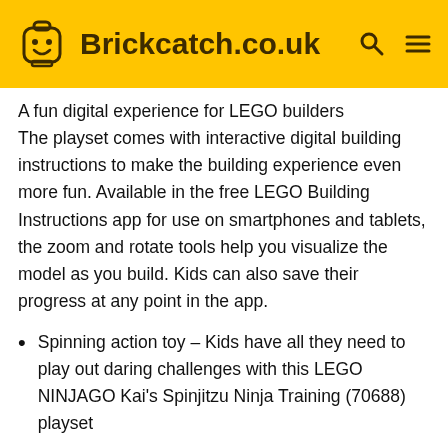Brickcatch.co.uk
A fun digital experience for LEGO builders
The playset comes with interactive digital building instructions to make the building experience even more fun. Available in the free LEGO Building Instructions app for use on smartphones and tablets, the zoom and rotate tools help you visualize the model as you build. Kids can also save their progress at any point in the app.
Spinning action toy – Kids have all they need to play out daring challenges with this LEGO NINJAGO Kai's Spinjitzu Ninja Training (70688) playset
1 minifigure – New for March 2022, the Kai minifigure has an exclusive and never-seen-before elemental power look
Ninja action toy – Kids can place Kai inside the spinning toy, pull the rip cord and watch as he quickly